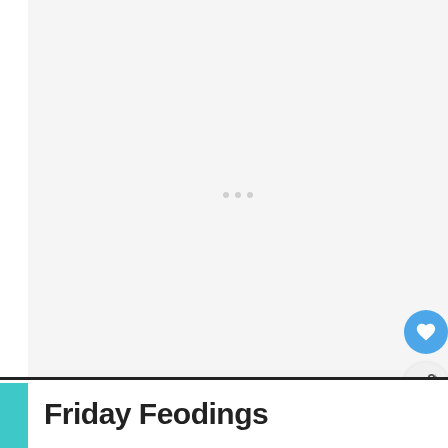[Figure (photo): Large image placeholder area with loading dots indicator in the center, light gray background]
[Figure (other): Floating action button with heart icon (blue circle) for saving/liking content]
[Figure (other): Floating action button with share icon (white circle with shadow) for sharing content]
WHAT'S NEXT → Summer Rose Sangria
Friday Feodings